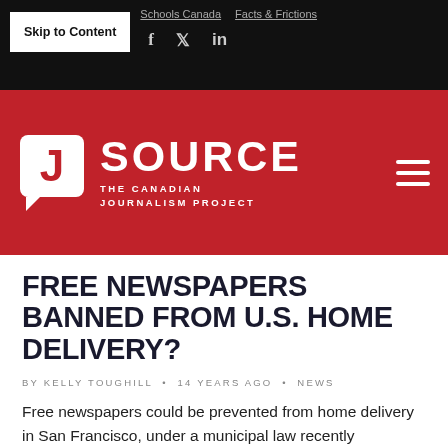Skip to Content | Schools Canada | Facts & Frictions | f t in
[Figure (logo): J Source — The Canadian Journalism Project logo on red background]
FREE NEWSPAPERS BANNED FROM U.S. HOME DELIVERY?
BY KELLY TOUGHILL • 14 YEARS AGO • NEWS
Free newspapers could be prevented from home delivery in San Francisco, under a municipal law recently